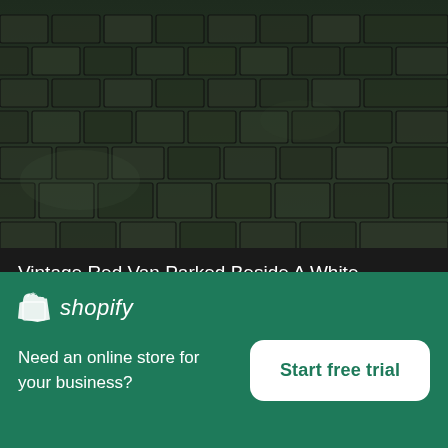[Figure (photo): Aerial/close-up view of cobblestone pavement, dark grey stones with subtle greenish tint]
Vintage Red Van Parked Beside A White Building
High resolution download ↓
[Figure (photo): Blurred close-up photo with warm brown/orange and grey tones, possibly a cardboard box or surface]
[Figure (logo): Shopify logo — shopping bag icon and italic 'shopify' wordmark in white on green background]
Need an online store for your business?
Start free trial